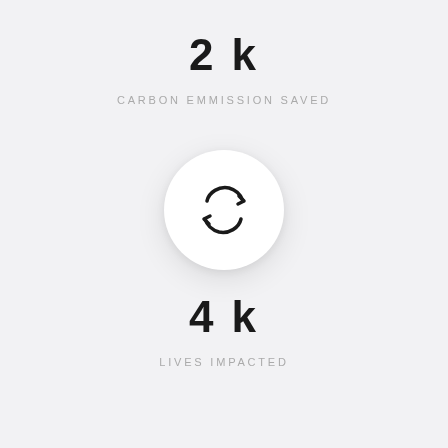2 k
CARBON EMMISSION SAVED
[Figure (illustration): Circular refresh/recycle icon inside a white circle with soft shadow on a light gray background]
4 k
LIVES IMPACTED